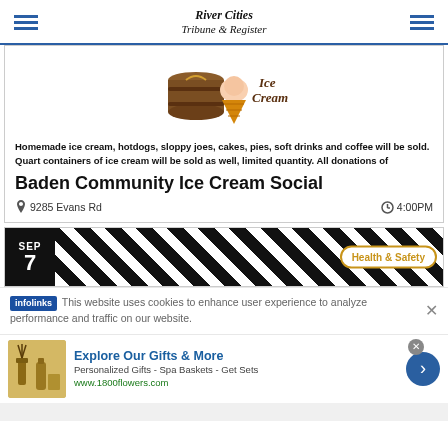River Cities Tribune & Register
[Figure (illustration): Ice cream social illustration with barrel churn and ice cream cone, with 'Ice Cream' text in script]
Homemade ice cream, hotdogs, sloppy joes, cakes, pies, soft drinks and coffee will be sold. Quart containers of ice cream will be sold as well, limited quantity. All donations of
Baden Community Ice Cream Social
9285 Evans Rd
4:00PM
[Figure (screenshot): Next event preview card showing SEP 7 date badge, diagonal stripe pattern image, and Health & Safety tag]
This website uses cookies to enhance user experience to analyze performance and traffic on our website.
[Figure (logo): infolinks logo badge]
[Figure (screenshot): Advertisement: Explore Our Gifts & More - Personalized Gifts - Spa Baskets - Get Sets - www.1800flowers.com]